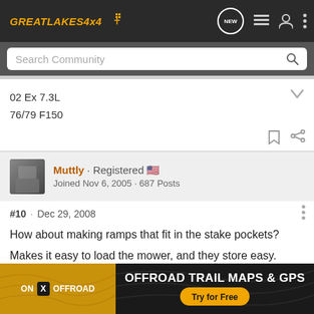GREATLAKES4X4 [nav icons: NEW, list, user, menu]
Search Community
02 Ex 7.3L
76/79 F150
Muttly · Registered 🇺🇸
Joined Nov 6, 2005 · 687 Posts
#10 · Dec 29, 2008
How about making ramps that fit in the stake pockets?
Makes it easy to load the mower, and they store easy.
[Figure (infographic): ON X OFFROAD advertisement banner: orange and black background with topo map lines, text 'OFFROAD TRAIL MAPS & GPS Try for Free']